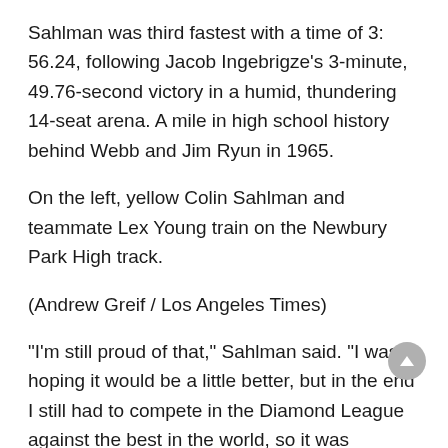Sahlman was third fastest with a time of 3: 56.24, following Jacob Ingebrigze’s 3-minute, 49.76-second victory in a humid, thundering 14-seat arena. A mile in high school history behind Webb and Jim Ryun in 1965.
On the left, yellow Colin Sahlman and teammate Lex Young train on the Newbury Park High track.
(Andrew Greif / Los Angeles Times)
“I’m still proud of that,” Sahlman said. “I was hoping it would be a little better, but in the end I still had to compete in the Diamond League against the best in the world, so it was amazing.”
Sahlman met Webb last year, and during his senior season, Webbin researched a video of a record race in